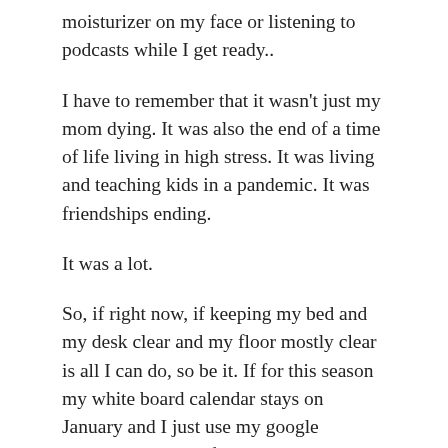moisturizer on my face or listening to podcasts while I get ready..
I have to remember that it wasn't just my mom dying. It was also the end of a time of life living in high stress. It was living and teaching kids in a pandemic. It was friendships ending.
It was a lot.
So, if right now, if keeping my bed and my desk clear and my floor mostly clear is all I can do, so be it. If for this season my white board calendar stays on January and I just use my google calendar, so be it. If I mostly eat bagged salads and bagels and frozen things from Trader Joe's, so be it.
Taking the shame out of the things I don't feel capable of and putting the focus on doing what I can to be human, to live and to move forward in my day...